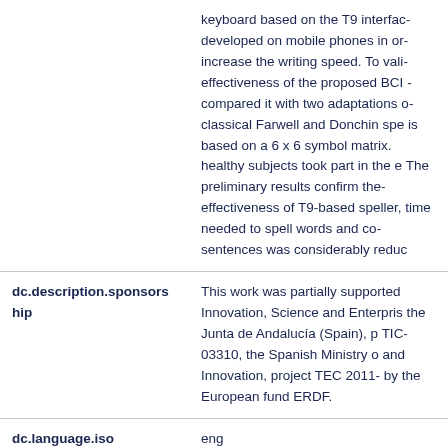| Field | Value |
| --- | --- |
|  | keyboard based on the T9 interface developed on mobile phones in order to increase the writing speed. To validate the effectiveness of the proposed BCI we compared it with two adaptations of the classical Farwell and Donchin speller that is based on a 6 x 6 symbol matrix. Ten healthy subjects took part in the experiment. The preliminary results confirm the effectiveness of T9-based speller, since the time needed to spell words and complete sentences was considerably reduced. |
| dc.description.sponsorship | This work was partially supported by the Innovation, Science and Enterprise Council of the Junta de Andalucía (Spain), project TIC-03310, the Spanish Ministry of Economy and Innovation, project TEC 2011- and by the European fund ERDF. |
| dc.language.iso | eng |
| dc.publisher | SCITEPRESS |